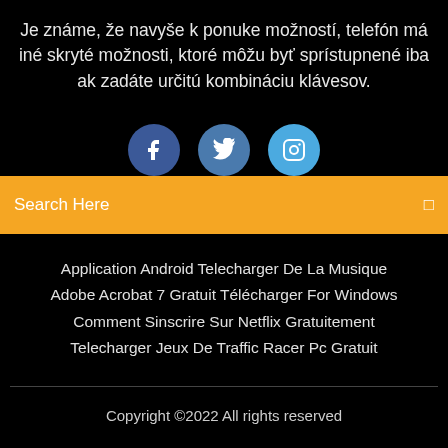Je známe, že navyše k ponuke možností, telefón má iné skryté možnosti, ktoré môžu byť sprístupnené iba ak zadáte určitú kombináciu klávesov.
[Figure (illustration): Three social media icon circles: Facebook (dark blue), Twitter (medium blue), Instagram (light blue)]
Search Here
Application Android Telecharger De La Musique
Adobe Acrobat 7 Gratuit Télécharger For Windows
Comment Sinscrire Sur Netflix Gratuitement
Telecharger Jeux De Traffic Racer Pc Gratuit
Copyright ©2022 All rights reserved